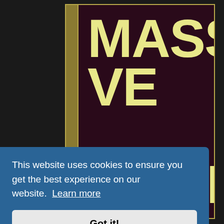[Figure (illustration): Book cover with dark maroon background and gold/yellow large text reading 'MASSIVE SHITEA', with gold border and spine visible on the left side, against a dark background.]
This website uses cookies to ensure you get the best experience on our website. Learn more
Got it!